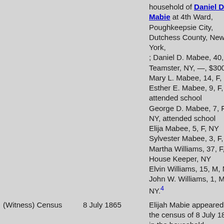| Type | Date | Description |
| --- | --- | --- |
|  |  | household of Daniel D. Mabie at 4th Ward, Poughkeepsie City, Dutchess County, New York,
; Daniel D. Mabee, 40, M, Teamster, NY, —, $300
Mary L. Mabee, 14, F, NY
Esther E. Mabee, 9, F, NY, attended school
George D. Mabee, 7, F, NY, attended school
Elija Mabee, 5, F, NY
Sylvester Mabee, 3, F, NY
Martha Williams, 37, F, House Keeper, NY
Elvin Williams, 15, M, NY
John W. Williams, 1, M, NY.[4] |
| (Witness) Census | 8 July 1865 | Elijah Mabie appeared on the census of 8 July 1865 in the household... |